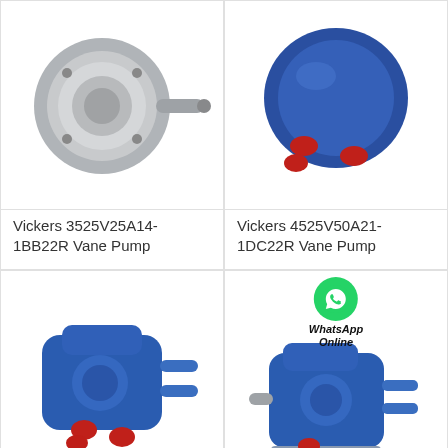[Figure (photo): Vickers 3525V25A14-1BB22R Vane Pump - silver/grey metallic hydraulic pump with protruding shaft, viewed from front-side angle]
[Figure (photo): Vickers 4525V50A21-1DC22R Vane Pump - blue hydraulic vane pump with red port caps, viewed from front-side angle]
Vickers 3525V25A14-1BB22R Vane Pump
Vickers 4525V50A21-1DC22R Vane Pump
[Figure (photo): Blue hydraulic vane pump with red port caps and multiple pipe connections, similar to Vickers style]
[Figure (photo): Blue Vickers hydraulic vane pump with metallic shaft and base plate, WhatsApp Online badge overlay]
All Products
Contact Now